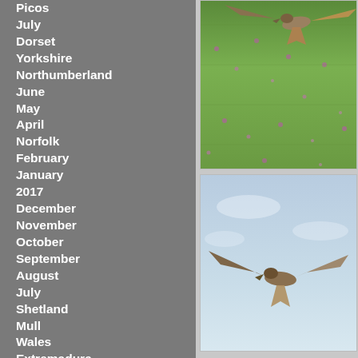Picos
July
Dorset
Yorkshire
Northumberland
June
May
April
Norfolk
February
January
2017
December
November
October
September
August
July
Shetland
Mull
Wales
Extremadura
[Figure (photo): Bird of prey in flight over green wildflower meadow, wings spread, photographed from above/side]
[Figure (photo): Bird of prey in flight against pale blue sky, viewed from below]